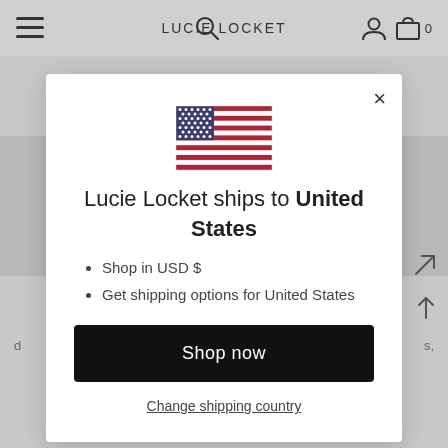LUCIE LOCKET
[Figure (screenshot): Modal dialog on Lucie Locket website showing shipping destination for United States with US flag, bullet points for USD and shipping options, Shop now button, and Change shipping country link]
Lucie Locket ships to United States
Shop in USD $
Get shipping options for United States
Shop now
Change shipping country